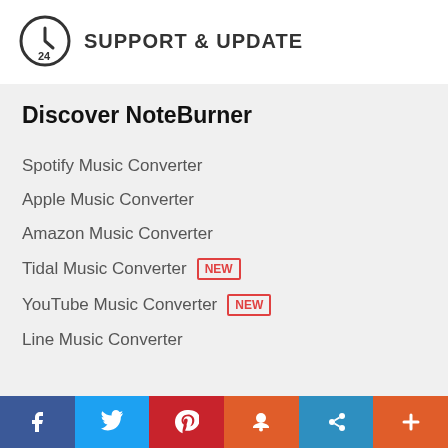SUPPORT & UPDATE
Discover NoteBurner
Spotify Music Converter
Apple Music Converter
Amazon Music Converter
Tidal Music Converter NEW
YouTube Music Converter NEW
Line Music Converter